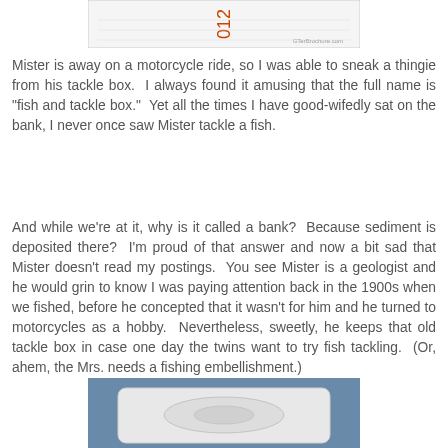[Figure (photo): Partial view of a document or label with orange text '012' visible and small watermark text at bottom right reading 'GTerBrochure.com']
Mister is away on a motorcycle ride, so I was able to sneak a thingie from his tackle box.  I always found it amusing that the full name is "fish and tackle box."  Yet all the times I have good-wifedly sat on the bank, I never once saw Mister tackle a fish.
And while we're at it, why is it called a bank?  Because sediment is deposited there?  I'm proud of that answer and now a bit sad that Mister doesn't read my postings.  You see Mister is a geologist and he would grin to know I was paying attention back in the 1900s when we fished, before he concepted that it wasn't for him and he turned to motorcycles as a hobby.  Nevertheless, sweetly, he keeps that old tackle box in case one day the twins want to try fish tackling.  (Or, ahem, the Mrs. needs a fishing embellishment.)
[Figure (photo): Close-up photo of a white plastic fishing tackle box or container sitting on a blue surface, viewed from above at an angle]